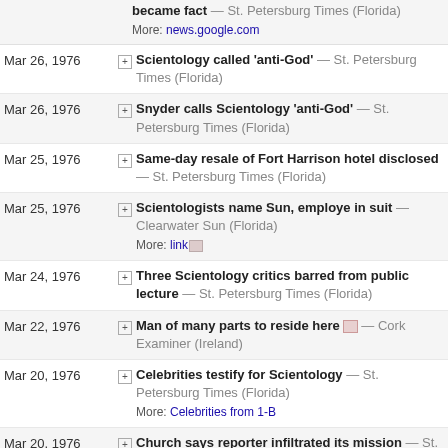became fact — St. Petersburg Times (Florida)
More: news.google.com
Mar 26, 1976 Scientology called 'anti-God' — St. Petersburg Times (Florida)
Mar 26, 1976 Snyder calls Scientology 'anti-God' — St. Petersburg Times (Florida)
Mar 25, 1976 Same-day resale of Fort Harrison hotel disclosed — St. Petersburg Times (Florida)
Mar 25, 1976 Scientologists name Sun, employe in suit — Clearwater Sun (Florida)
More: link
Mar 24, 1976 Three Scientology critics barred from public lecture — St. Petersburg Times (Florida)
Mar 22, 1976 Man of many parts to reside here — Cork Examiner (Ireland)
Mar 20, 1976 Celebrities testify for Scientology — St. Petersburg Times (Florida)
More: Celebrities from 1-B
Mar 20, 1976 Church says reporter infiltrated its mission — St. Petersburg Times (Florida)
More: Infiltrate from 1-B
Mar 20, 1976 Scientology yacht Apollo up for sale — Los Angeles Times (California)
More: link
Mar 20, 1976 [Details about Scientology as a religion in Australia] — St. Petersburg Times (Florida)